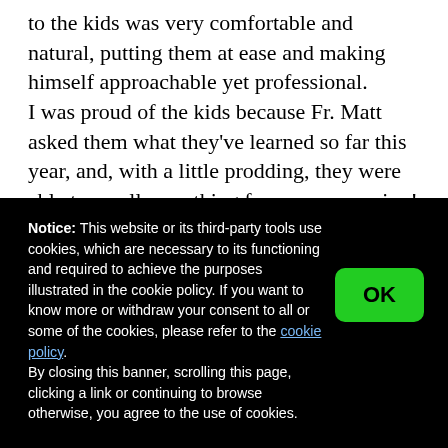to the kids was very comfortable and natural, putting them at ease and making himself approachable yet professional.

I was proud of the kids because Fr. Matt asked them what they've learned so far this year, and, with a little prodding, they were able to recall something from every session! Then, when he opened it up for Q & A,
Notice: This website or its third-party tools use cookies, which are necessary to its functioning and required to achieve the purposes illustrated in the cookie policy. If you want to know more or withdraw your consent to all or some of the cookies, please refer to the cookie policy.
By closing this banner, scrolling this page, clicking a link or continuing to browse otherwise, you agree to the use of cookies.